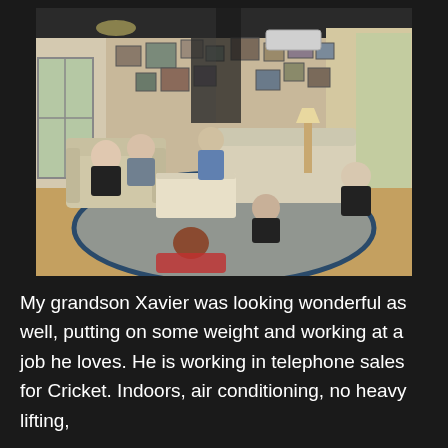[Figure (photo): A living room scene with multiple people — adults and children — sitting on sofas and on the floor around a coffee table. The walls are covered with framed pictures and artwork. There is a blue floral rug on the floor, hardwood floors visible to the right, and a door leading to another room. A chandelier and natural light from windows illuminate the space.]
My grandson Xavier was looking wonderful as well, putting on some weight and working at a job he loves. He is working in telephone sales for Cricket.  Indoors, air conditioning, no heavy lifting,